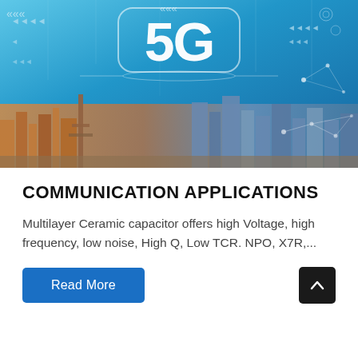[Figure (photo): 5G technology concept image showing a city skyline with blue digital overlay, network nodes, arrows, and large bold '5G' text in the center on a blue digital background.]
COMMUNICATION APPLICATIONS
Multilayer Ceramic capacitor offers high Voltage, high frequency, low noise, High Q, Low TCR. NPO, X7R,...
Read More